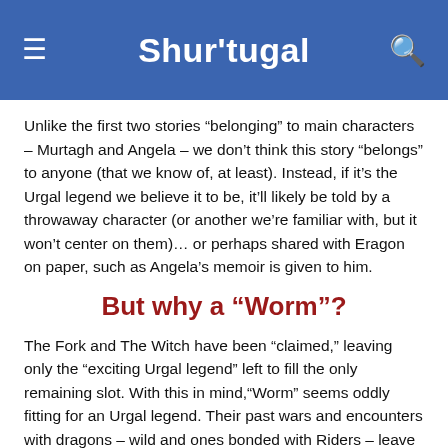Shur'tugal
Unlike the first two stories “belonging” to main characters – Murtagh and Angela – we don’t think this story “belongs” to anyone (that we know of, at least). Instead, if it’s the Urgal legend we believe it to be, it’ll likely be told by a throwaway character (or another we’re familiar with, but it won’t center on them)… or perhaps shared with Eragon on paper, such as Angela’s memoir is given to him.
But why a “Worm”?
The Fork and The Witch have been “claimed,” leaving only the “exciting Urgal legend” left to fill the only remaining slot. With this in mind,“Worm” seems oddly fitting for an Urgal legend. Their past wars and encounters with dragons – wild and ones bonded with Riders – leave a past ripe